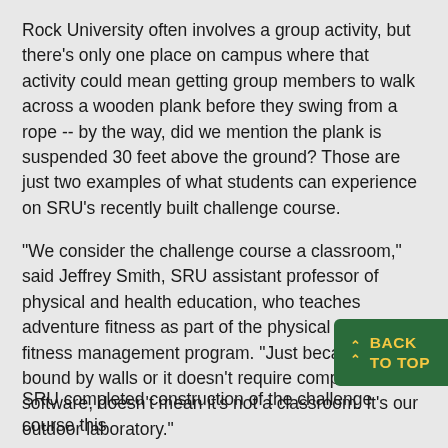Rock University often involves a group activity, but there's only one place on campus where that activity could mean getting group members to walk across a wooden plank before they swing from a rope -- by the way, did we mention the plank is suspended 30 feet above the ground? Those are just two examples of what students can experience on SRU's recently built challenge course.
"We consider the challenge course a classroom," said Jeffrey Smith, SRU assistant professor of physical and health education, who teaches adventure fitness as part of the physical activity and fitness management program. "Just because it's not bound by walls or it doesn't require computer software, doesn't mean it's not a classroom. It's our outdoor laboratory."
The adrenaline, skills and confidence developed from using the challenge course provide an experience that th a chair, desk and computer keyboard simply cann
SRU completed construction of the challenge course this